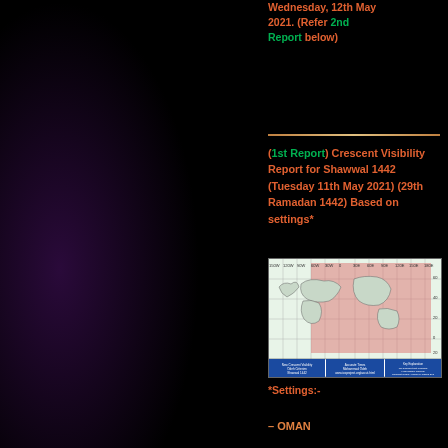Wednesday, 12th May 2021. (Refer 2nd Report below)
(1st Report) Crescent Visibility Report for Shawwal 1442 (Tuesday 11th May 2021) (29th Ramadan 1442) Based on settings*
[Figure (map): Crescent visibility world map for Shawwal 1442, Tuesday 11th May 2021. Shows regions in white and pink/red shading indicating visibility zones across world map with longitude/latitude grid. Blue legend boxes at bottom with text about New Crescent Visibility, calculator times, and key explanation.]
*Settings:-
– OMAN